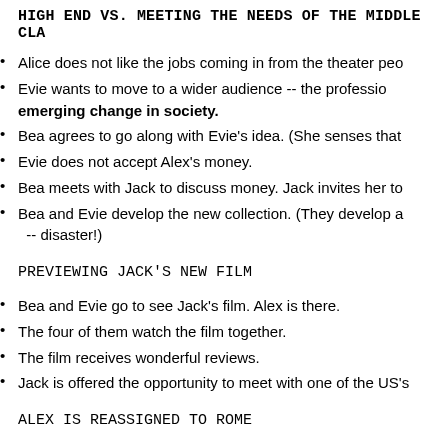HIGH END VS. MEETING THE NEEDS OF THE MIDDLE CLA
Alice does not like the jobs coming in from the theater peo
Evie wants to move to a wider audience -- the professio emerging change in society.
Bea agrees to go along with Evie's idea. (She senses that
Evie does not accept Alex's money.
Bea meets with Jack to discuss money. Jack invites her to
Bea and Evie develop the new collection. (They develop a -- disaster!)
PREVIEWING JACK'S NEW FILM
Bea and Evie go to see Jack's film. Alex is there.
The four of them watch the film together.
The film receives wonderful reviews.
Jack is offered the opportunity to meet with one of the US's
ALEX IS REASSIGNED TO ROME
Alex is offered a job as ambassador to Rome.
Bea and Evie accept Jack's offer.